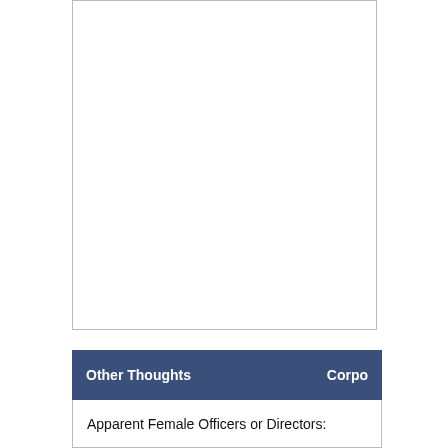[Figure (other): Empty white box area representing content above (likely a chart or image from a previous section, blank/white in this view)]
Other Thoughts   Corpo
Apparent Female Officers or Directors: